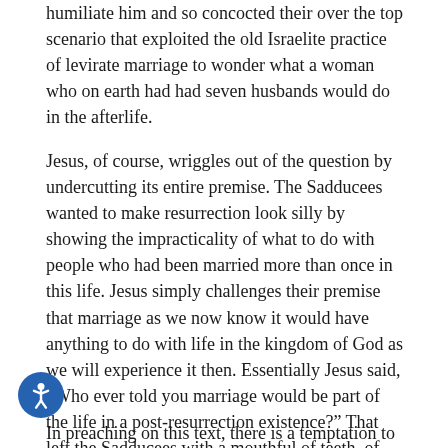humiliate him and so concocted their over the top scenario that exploited the old Israelite practice of levirate marriage to wonder what a woman who on earth had had seven husbands would do in the afterlife.
Jesus, of course, wriggles out of the question by undercutting its entire premise. The Sadducees wanted to make resurrection look silly by showing the impracticality of what to do with people who had been married more than once in this life. Jesus simply challenges their premise that marriage as we now know it would have anything to do with life in the kingdom of God as we will experience it then. Essentially Jesus said, “Who ever told you marriage would be part of the life in a post-resurrection existence?” That left the Sadducees with a mouthful of teeth, of course, in that they had to admit that they had only guessed that marriage as we now know it would be in heaven. But as a matter of fact, no one ever really said that—least of all Jesus—and so far from catching Jesus out with their cynical question, they themselves were shown to be out to lunch!
In preaching on this text, there is a temptation to make it some